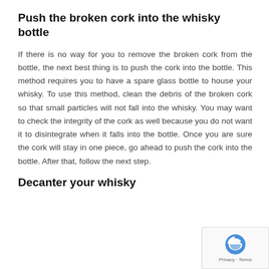Push the broken cork into the whisky bottle
If there is no way for you to remove the broken cork from the bottle, the next best thing is to push the cork into the bottle. This method requires you to have a spare glass bottle to house your whisky. To use this method, clean the debris of the broken cork so that small particles will not fall into the whisky. You may want to check the integrity of the cork as well because you do not want it to disintegrate when it falls into the bottle. Once you are sure the cork will stay in one piece, go ahead to push the cork into the bottle. After that, follow the next step.
Decanter your whisky